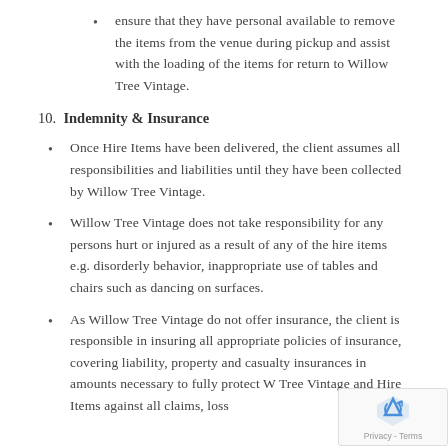ensure that they have personal available to remove the items from the venue during pickup and assist with the loading of the items for return to Willow Tree Vintage.
10. Indemnity & Insurance
Once Hire Items have been delivered, the client assumes all responsibilities and liabilities until they have been collected by Willow Tree Vintage.
Willow Tree Vintage does not take responsibility for any persons hurt or injured as a result of any of the hire items e.g. disorderly behavior, inappropriate use of tables and chairs such as dancing on surfaces.
As Willow Tree Vintage do not offer insurance, the client is responsible in insuring all appropriate policies of insurance, covering liability, property and casualty insurances in amounts necessary to fully protect Willow Tree Vintage and Hire Items against all claims, loss...